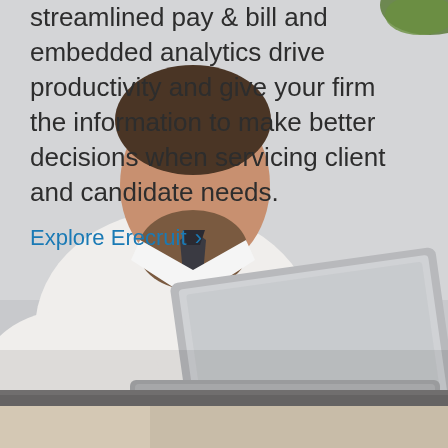[Figure (photo): A businessman in a white shirt and dark tie sitting at a desk looking at a laptop screen. The background is light gray. In the top right corner there is a partial view of a green plant leaf. At the very bottom of the page there is a narrow strip showing another scene.]
streamlined pay & bill and embedded analytics drive productivity and give your firm the information to make better decisions when servicing client and candidate needs.
Explore Erecruit ›